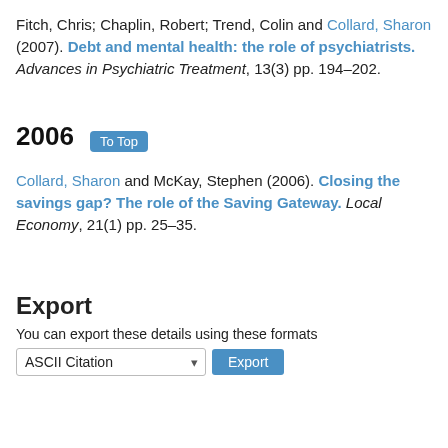Fitch, Chris; Chaplin, Robert; Trend, Colin and Collard, Sharon (2007). Debt and mental health: the role of psychiatrists. Advances in Psychiatric Treatment, 13(3) pp. 194–202.
2006  To Top
Collard, Sharon and McKay, Stephen (2006). Closing the savings gap? The role of the Saving Gateway. Local Economy, 21(1) pp. 25–35.
Export
You can export these details using these formats
ASCII Citation  Export